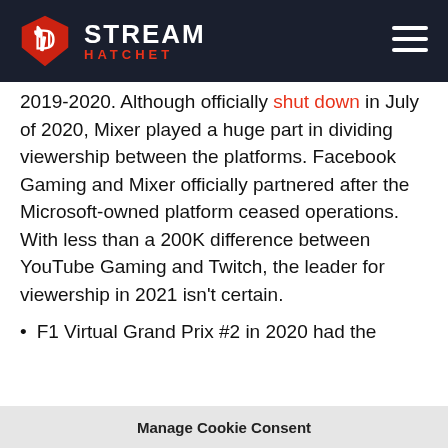STREAM HATCHET
2019-2020. Although officially shut down in July of 2020, Mixer played a huge part in dividing viewership between the platforms. Facebook Gaming and Mixer officially partnered after the Microsoft-owned platform ceased operations. With less than a 200K difference between YouTube Gaming and Twitch, the leader for viewership in 2021 isn't certain.
F1 Virtual Grand Prix #2 in 2020 had the
Manage Cookie Consent